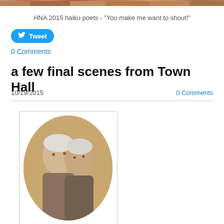[Figure (photo): Cropped group photo of HNA 2015 haiku poets at top of page]
HNA 2015 haiku poets - "You make me want to shout!"
[Figure (other): Twitter Tweet button]
0 Comments
a few final scenes from Town Hall
10/19/2015
0 Comments
[Figure (photo): Photo of two elderly people, shown in circular crop within a white-bordered frame]